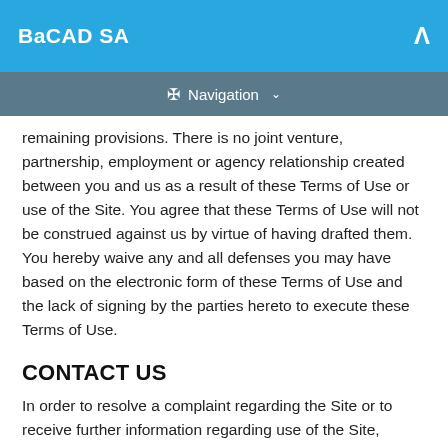BaCAD SA
Navigation
remaining provisions. There is no joint venture, partnership, employment or agency relationship created between you and us as a result of these Terms of Use or use of the Site. You agree that these Terms of Use will not be construed against us by virtue of having drafted them. You hereby waive any and all defenses you may have based on the electronic form of these Terms of Use and the lack of signing by the parties hereto to execute these Terms of Use.
CONTACT US
In order to resolve a complaint regarding the Site or to receive further information regarding use of the Site, please contact us at:
BaCAD SA